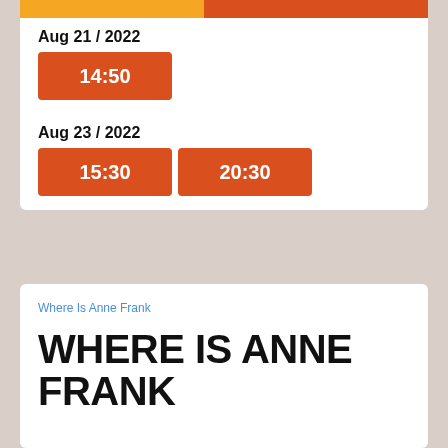Aug 21 / 2022
14:50
Aug 23 / 2022
15:30
20:30
[Figure (other): Broken image placeholder link labeled 'Where Is Anne Frank']
WHERE IS ANNE FRANK